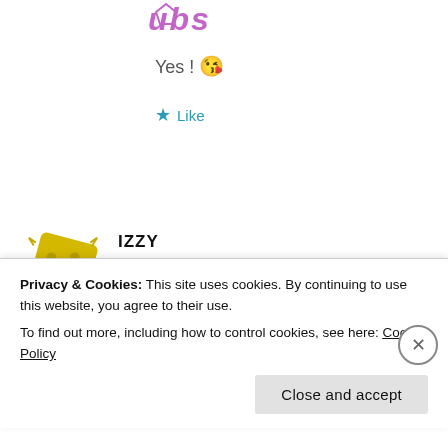[Figure (logo): Partial purple/pink stylized logo text at top]
Yes ! 😘
★ Like
[Figure (illustration): Yellow dice-shaped avatar icon for user Izzy]
IZZY
January 1, 2017 at 3:43 pm · Reply
I LOVE Ted Baker makeup products and I need to go out and buy some more! The
Privacy & Cookies: This site uses cookies. By continuing to use this website, you agree to their use.
To find out more, including how to control cookies, see here: Cookie Policy
Close and accept